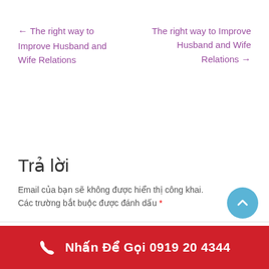← The right way to Improve Husband and Wife Relations
The right way to Improve Husband and Wife Relations →
Trả lời
Email của bạn sẽ không được hiển thị công khai. Các trường bắt buộc được đánh dấu *
Nhấn Để Gọi 0919 20 4344